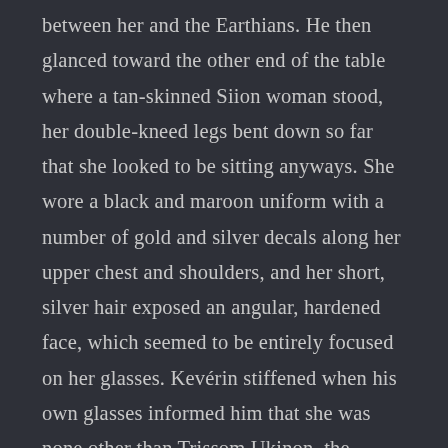between her and the Earthians. He then glanced toward the other end of the table where a tan-skinned Siion woman stood, her double-kneed legs bent down so far that she looked to be sitting anyways. She wore a black and maroon uniform with a number of gold and silver decals along her upper chest and shoulders, and her short, silver hair exposed an angular, hardened face, which seemed to be entirely focused on her glasses. Kevérin stiffened when his own glasses informed him that she was none other than Trissom Ukinon, the System Admiral in charge of all of the space fleets in the Tau'cen Kii system. He then glanced back at the large, dark-skinned Dra'kis man who had greeted him upon entering the room. He wore a uniform in a similar style to that of Ukinon's, but navy blue instead of